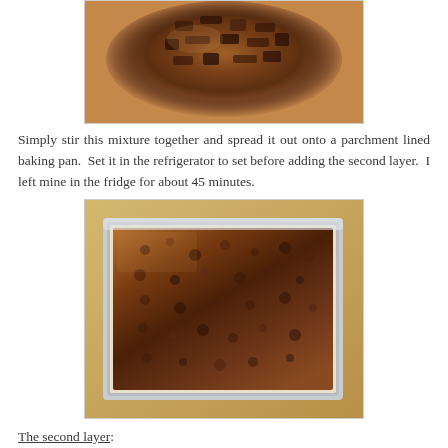[Figure (photo): Top portion of a glass bowl containing chopped chocolate mixture on a wooden surface]
Simply stir this mixture together and spread it out onto a parchment lined baking pan.  Set it in the refrigerator to set before adding the second layer.  I left mine in the fridge for about 45 minutes.
[Figure (photo): A square baking pan lined with parchment paper filled with a chocolate rice crispy mixture spread evenly]
The second layer:
The top layer is simply a smooth, dark chocolate ganache.  I took 4 ounces of dark chocolate, a bit of instant espresso powder, and melted it in the standard way with an equal